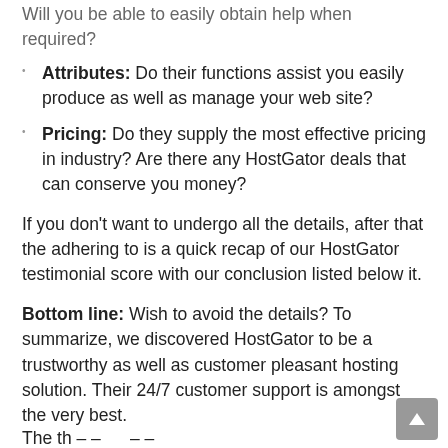Attributes: Do their functions assist you easily produce as well as manage your web site?
Pricing: Do they supply the most effective pricing in industry? Are there any HostGator deals that can conserve you money?
If you don't want to undergo all the details, after that the adhering to is a quick recap of our HostGator testimonial score with our conclusion listed below it.
Bottom line: Wish to avoid the details? To summarize, we discovered HostGator to be a trustworthy as well as customer pleasant hosting solution. Their 24/7 customer support is amongst the very best.